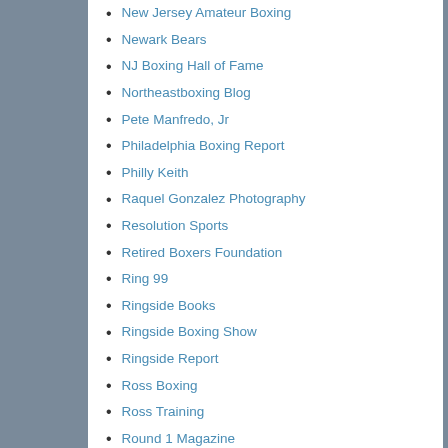New Jersey Amateur Boxing
Newark Bears
NJ Boxing Hall of Fame
Northeastboxing Blog
Pete Manfredo, Jr
Philadelphia Boxing Report
Philly Keith
Raquel Gonzalez Photography
Resolution Sports
Retired Boxers Foundation
Ring 99
Ringside Books
Ringside Boxing Show
Ringside Report
Ross Boxing
Ross Training
Round 1 Magazine
Shannon Briggs
Signature Fitness Boxing
Silverhawk Boxing
Star Boxing
Strictly Business Boxing
Talking Boxing
The KO Picture Show
The Leveander Fund